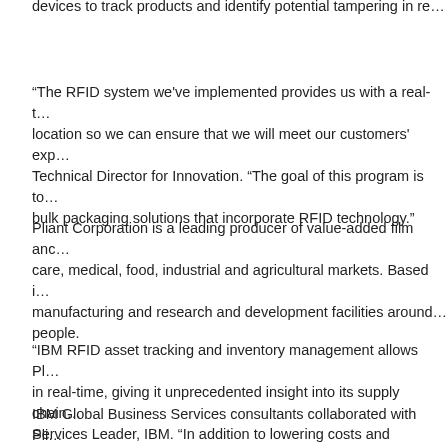devices to track products and identify potential tampering in re...
“The RFID system we’ve implemented provides us with a real-t... location so we can ensure that we will meet our customers’ exp... Technical Director for Innovation. “The goal of this program is to... bulk packaging solutions that incorporate RFID technology.”
Pliant Corporation is a leading producer of value-added film anc... care, medical, food, industrial and agricultural markets. Based i... manufacturing and research and development facilities around... people.
“IBM RFID asset tracking and inventory management allows Pl... in real-time, giving it unprecedented insight into its supply chain... Services Leader, IBM. “In addition to lowering costs and increas... information is available at the right time to enable more strategi...
IBM Global Business Services consultants collaborated with Pli... technology roadmap, helping Pliant prepare and validate the RI...
Pliant’s IBM software and solution, which has been in place sin... Collection Server software and WebSphere RFID Device Infras...